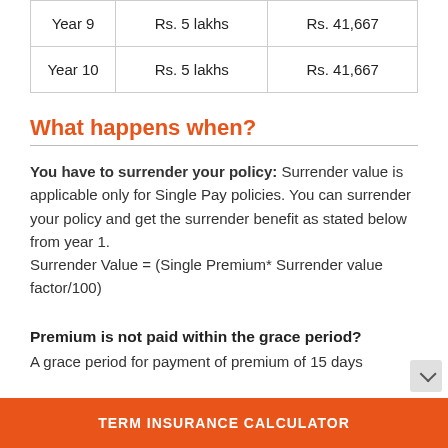|  |  |  |
| --- | --- | --- |
| Year 9 | Rs. 5 lakhs | Rs. 41,667 |
| Year 10 | Rs. 5 lakhs | Rs. 41,667 |
What happens when?
You have to surrender your policy: Surrender value is applicable only for Single Pay policies. You can surrender your policy and get the surrender benefit as stated below from year 1.
Surrender Value = (Single Premium* Surrender value factor/100)
Premium is not paid within the grace period?
A grace period for payment of premium of 15 days
TERM INSURANCE CALCULATOR